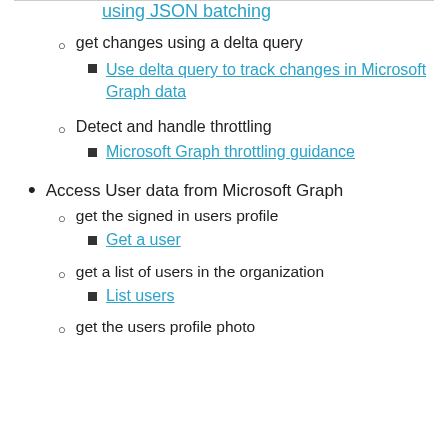using JSON batching
get changes using a delta query
Use delta query to track changes in Microsoft Graph data
Detect and handle throttling
Microsoft Graph throttling guidance
Access User data from Microsoft Graph
get the signed in users profile
Get a user
get a list of users in the organization
List users
get the users profile photo